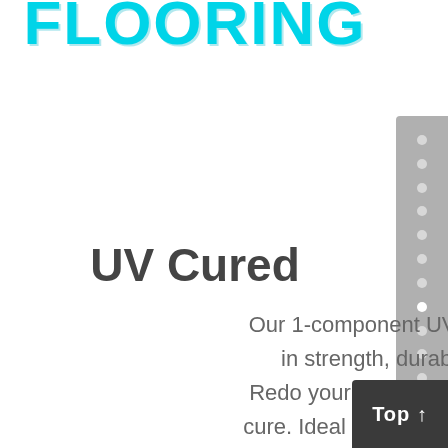FLOORING
UV Cured
Our 1-component UV finish is unrivaled in strength, durability and speed. Redo your floors over-night with instant cure. Ideal for any busy commercial site. It is also our most eco-friendly finish.